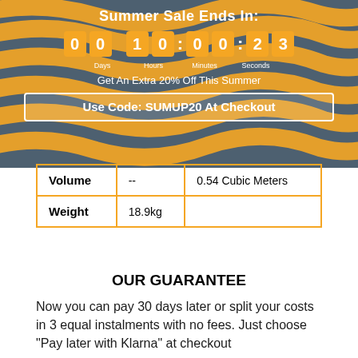[Figure (infographic): Summer Sale countdown banner with wavy orange stripes on dark blue/grey background. Shows countdown timer: 00 Days, 10 Hours, 00 Minutes, 23 Seconds. Text: 'Get An Extra 20% Off This Summer'. Coupon box: 'Use Code: SUMUP20 At Checkout']
| Volume | -- | 0.54 Cubic Meters |
| Weight | 18.9kg |  |
OUR GUARANTEE
Now you can pay 30 days later or split your costs in 3 equal instalments with no fees. Just choose "Pay later with Klarna" at checkout